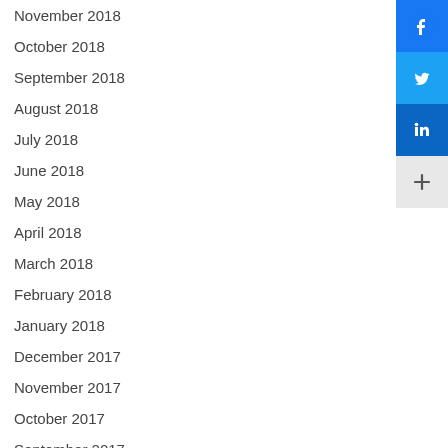November 2018
October 2018
September 2018
August 2018
July 2018
June 2018
May 2018
April 2018
March 2018
February 2018
January 2018
December 2017
November 2017
October 2017
September 2017
August 2017
July 2017